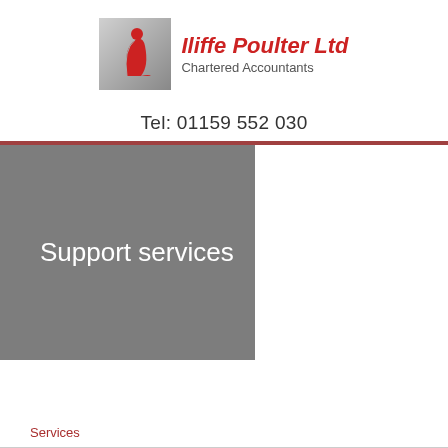[Figure (logo): Iliffe Poulter Ltd logo: stylized red and grey 'i' letter mark on grey square background]
Iliffe Poulter Ltd
Chartered Accountants
Tel: 01159 552 030
E-mail: ipo@ip-online.co.uk | Contact us
[Figure (infographic): Hamburger menu icon with three horizontal lines and MENU text below]
Support services
Services